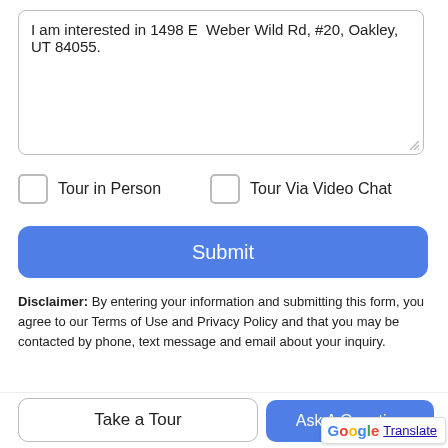I am interested in 1498 E  Weber Wild Rd, #20, Oakley, UT 84055.
Tour in Person
Tour Via Video Chat
Submit
Disclaimer: By entering your information and submitting this form, you agree to our Terms of Use and Privacy Policy and that you may be contacted by phone, text message and email about your inquiry.
Based on information from the Wasatch Front Regional Multiple
Take a Tour
Ask A Question
Translate